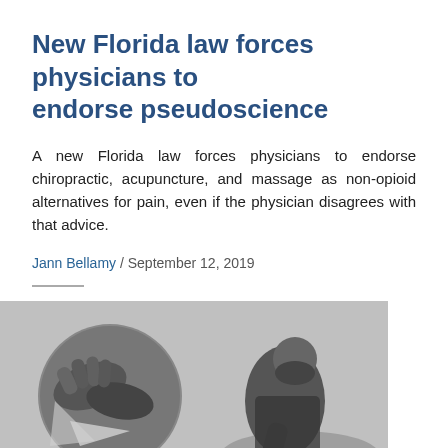New Florida law forces physicians to endorse pseudoscience
A new Florida law forces physicians to endorse chiropractic, acupuncture, and massage as non-opioid alternatives for pain, even if the physician disagrees with that advice.
Jann Bellamy / September 12, 2019
[Figure (photo): Black and white photograph showing hands performing what appears to be a chiropractic or massage treatment, with a practitioner leaning over a patient]